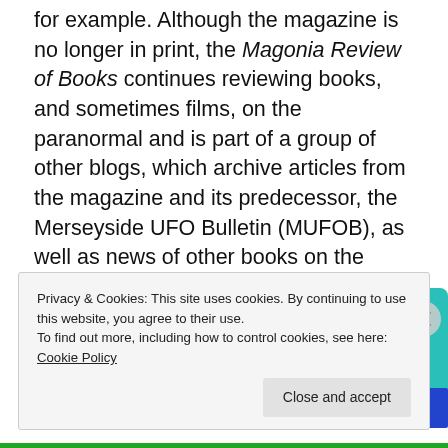for example. Although the magazine is no longer in print, the Magonia Review of Books continues reviewing books, and sometimes films, on the paranormal and is part of a group of other blogs, which archive articles from the magazine and its predecessor, the Merseyside UFO Bulletin (MUFOB), as well as news of other books on the subject.
[Figure (infographic): Advertisement banner with 'Download now' text in red and a book cover image showing '99% INVISIBLE' on a black grid background with teal and other colored book spines]
Privacy & Cookies: This site uses cookies. By continuing to use this website, you agree to their use.
To find out more, including how to control cookies, see here: Cookie Policy